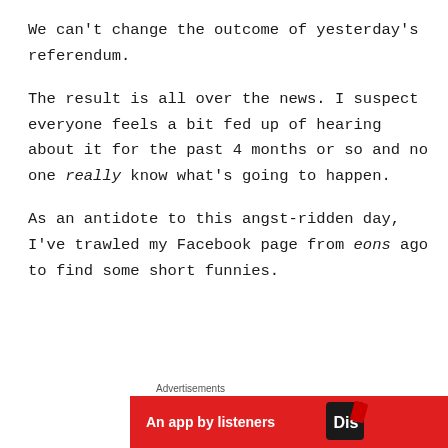We can't change the outcome of yesterday's referendum.
The result is all over the news. I suspect everyone feels a bit fed up of hearing about it for the past 4 months or so and no one really know what's going to happen.
As an antidote to this angst-ridden day, I've trawled my Facebook page from eons ago to find some short funnies.
Advertisements
[Figure (other): Red advertisement banner showing 'An app by listeners' text with a logo/icon on the right]